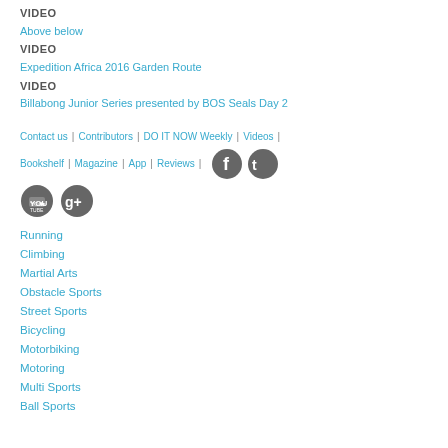VIDEO
Above below
VIDEO
Expedition Africa 2016 Garden Route
VIDEO
Billabong Junior Series presented by BOS Seals Day 2
Contact us | Contributors | DO IT NOW Weekly | Videos | Bookshelf | Magazine | App | Reviews |
[Figure (logo): Social media icons: Facebook, Twitter, YouTube, Google+]
Running
Climbing
Martial Arts
Obstacle Sports
Street Sports
Bicycling
Motorbiking
Motoring
Multi Sports
Ball Sports